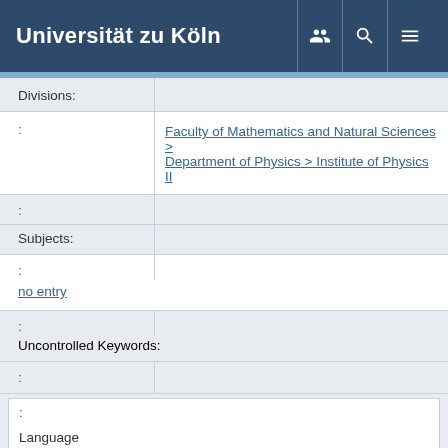Universität zu Köln
| Field | Value |
| --- | --- |
| Divisions: | Faculty of Mathematics and Natural Sciences > Department of Physics > Institute of Physics II |
| : |  |
| Subjects: |  |
| : | no entry |
| : | Uncontrolled Keywords: |
| : |  |
| : | Language |